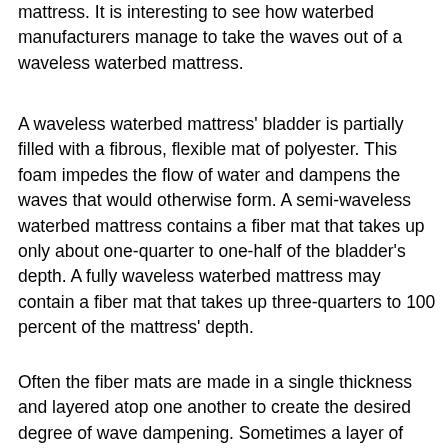mattress. It is interesting to see how waterbed manufacturers manage to take the waves out of a waveless waterbed mattress.
A waveless waterbed mattress' bladder is partially filled with a fibrous, flexible mat of polyester. This foam impedes the flow of water and dampens the waves that would otherwise form. A semi-waveless waterbed mattress contains a fiber mat that takes up only about one-quarter to one-half of the bladder's depth. A fully waveless waterbed mattress may contain a fiber mat that takes up three-quarters to 100 percent of the mattress' depth.
Often the fiber mats are made in a single thickness and layered atop one another to create the desired degree of wave dampening. Sometimes a layer of solid material is